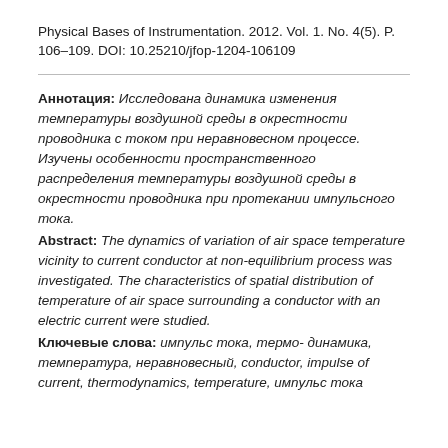Physical Bases of Instrumentation. 2012. Vol. 1. No. 4(5). P. 106–109. DOI: 10.25210/jfop-1204-106109
Аннотация: Исследована динамика изменения температуры воздушной среды в окрестности проводника с током при неравновесном процессе. Изучены особенности пространственного распределения температуры воздушной среды в окрестности проводника при протекании импульсного тока.
Abstract: The dynamics of variation of air space temperature vicinity to current conductor at non-equilibrium process was investigated. The characteristics of spatial distribution of temperature of air space surrounding a conductor with an electric current were studied.
Ключевые слова: импульс тока, термо- динамика, температура, неравновесный, conductor, impulse of current, thermodynamics, temperature, импульс тока